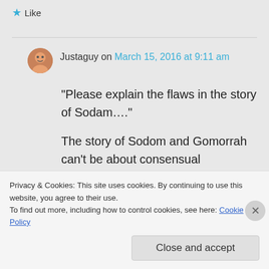Like
Justaguy on March 15, 2016 at 9:11 am
“Please explain the flaws in the story of Sodam….”

The story of Sodom and Gomorrah can’t be about consensual homosexual relationships, because
Privacy & Cookies: This site uses cookies. By continuing to use this website, you agree to their use.
To find out more, including how to control cookies, see here: Cookie Policy
Close and accept